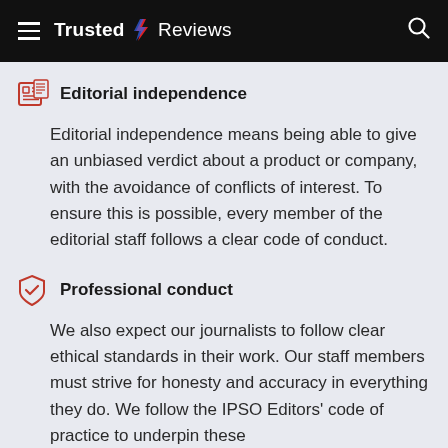Trusted Reviews
Editorial independence
Editorial independence means being able to give an unbiased verdict about a product or company, with the avoidance of conflicts of interest. To ensure this is possible, every member of the editorial staff follows a clear code of conduct.
Professional conduct
We also expect our journalists to follow clear ethical standards in their work. Our staff members must strive for honesty and accuracy in everything they do. We follow the IPSO Editors' code of practice to underpin these